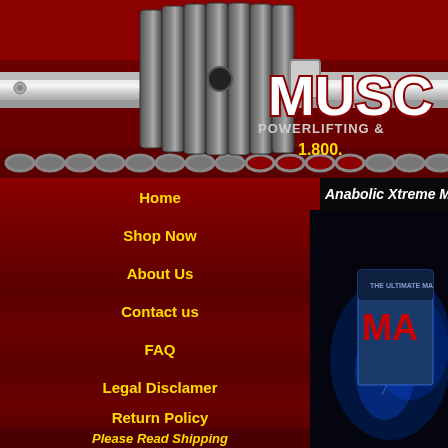[Figure (illustration): Website header banner with barbell weight plates on a metal bar background, dark red and chrome theme]
MUSC
POWERLIFTING &
1.800.
Home
Shop Now
About Us
Contact us
FAQ
Legal Disclamer
Return Policy
Please Read Shipping
Anabolic Xtreme Ma
[Figure (photo): Product box for Anabolic Xtreme MA supplement with blue electric effects on dark background]